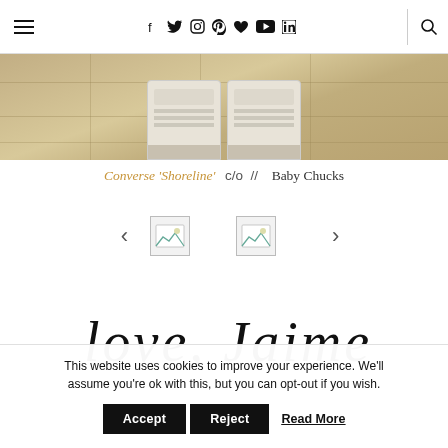Navigation bar with hamburger menu, social icons (Facebook, Twitter, Instagram, Pinterest, Bloglovin, YouTube, LinkedIn), divider, and search icon
[Figure (photo): Top-down view of two pairs of Converse sneakers (adult and baby) standing on stone pavement tiles]
Converse 'Shoreline' c/o  //  Baby Chucks
[Figure (other): Image carousel with left/right arrows and two thumbnail image placeholders]
[Figure (illustration): Handwritten-style signature reading 'love, Jaime']
This website uses cookies to improve your experience. We'll assume you're ok with this, but you can opt-out if you wish.
Accept   Reject   Read More